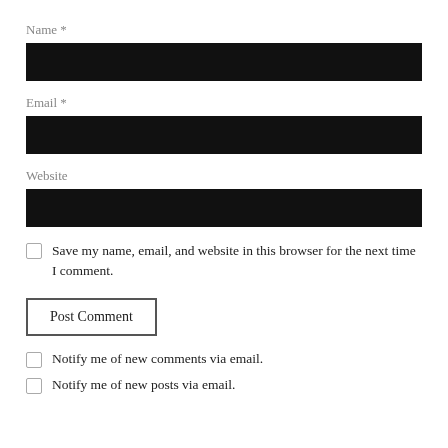Name *
[Figure (other): Black input box for Name field]
Email *
[Figure (other): Black input box for Email field]
Website
[Figure (other): Black input box for Website field]
Save my name, email, and website in this browser for the next time I comment.
Post Comment
Notify me of new comments via email.
Notify me of new posts via email.